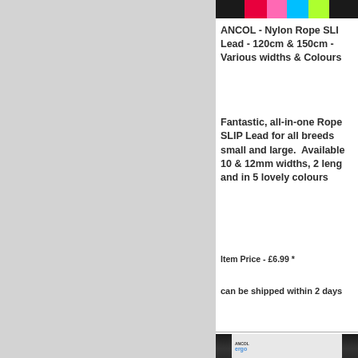[Figure (photo): Colorful nylon rope leads/slip leads in multiple colors (black, red, pink, blue, green) on a dark background]
ANCOL - Nylon Rope SLIP Lead - 120cm & 150cm - Various widths & Colours
Fantastic, all-in-one Rope SLIP Lead for all breeds small and large.  Available 10 & 12mm widths, 2 lengths and in 5 lovely colours
Item Price - £6.99 *
can be shipped within 2 days
[Figure (photo): ANCOL ergo product packaging on dark background]